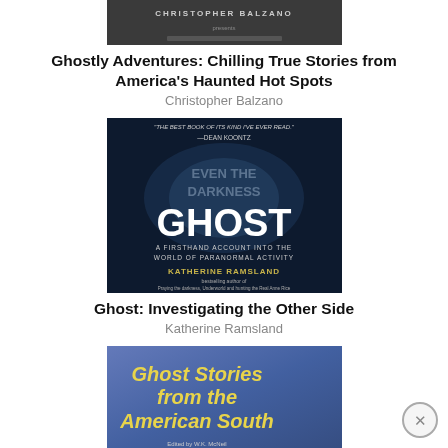[Figure (photo): Book cover of 'Ghostly Adventures: Chilling True Stories from America's Haunted Hot Spots' by Christopher Balzano — dark cover with author name]
Ghostly Adventures: Chilling True Stories from America's Haunted Hot Spots
Christopher Balzano
[Figure (photo): Book cover of 'Ghost: Investigating the Other Side' by Katherine Ramsland — dark blue cover showing a building, with title GHOST in large white letters and subtitle 'A Firsthand Account into the World of Paranormal Activity'. Blurb at top: 'THE BEST BOOK OF ITS KIND I'VE EVER READ.' —DEAN KOONTZ]
Ghost: Investigating the Other Side
Katherine Ramsland
[Figure (photo): Book cover of 'Ghost Stories from the American South' — partially visible, blue and purple tones with yellow title text]